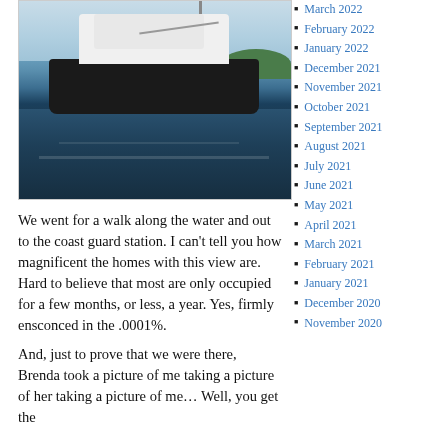[Figure (photo): A motor yacht / sport fishing boat with white superstructure and dark hull on open water, with green shoreline in the background and blue sky above.]
We went for a walk along the water and out to the coast guard station.  I can't tell you how magnificent the homes with this view are.  Hard to believe that most are only occupied for a few months, or less, a year.  Yes, firmly ensconced in the .0001%.
And, just to prove that we were there, Brenda took a picture of me taking a picture of her taking a picture of me… Well, you get the
March 2022
February 2022
January 2022
December 2021
November 2021
October 2021
September 2021
August 2021
July 2021
June 2021
May 2021
April 2021
March 2021
February 2021
January 2021
December 2020
November 2020